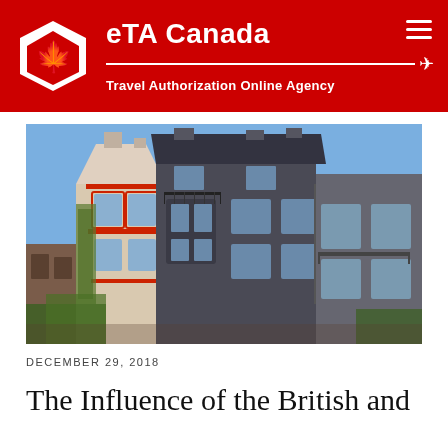eTA Canada — Travel Authorization Online Agency
[Figure (photo): Photograph of historic Victorian-style buildings in Montreal, Canada. The buildings feature ornate architectural details including a white and red facade with decorative cornices and ivy, alongside a dark grey stone building with bay windows and iron railings, under a blue sky.]
DECEMBER 29, 2018
The Influence of the British and